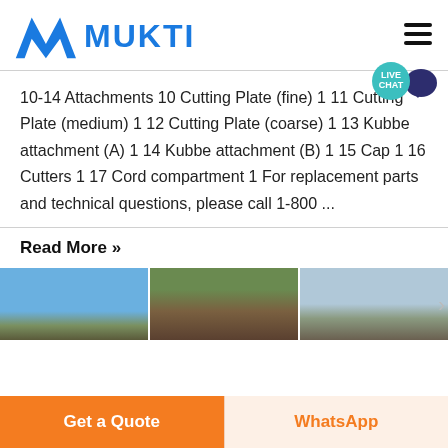[Figure (logo): Mukti logo with blue triangular M symbol and blue MUKTI text, plus hamburger menu icon on the right]
10-14 Attachments 10 Cutting Plate (fine) 1 11 Cutting Plate (medium) 1 12 Cutting Plate (coarse) 1 13 Kubbe attachment (A) 1 14 Kubbe attachment (B) 1 15 Cap 1 16 Cutters 1 17 Cord compartment 1 For replacement parts and technical questions, please call 1-800 ...
Read More »
[Figure (photo): Three partial images of outdoor/landscape scenes shown in a horizontal strip at the bottom of the content area]
Get a Quote
WhatsApp